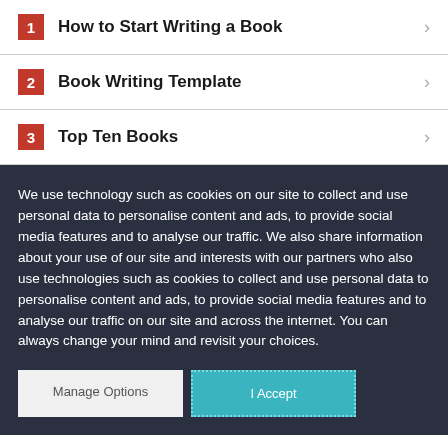1 How to Start Writing a Book
2 Book Writing Template
3 Top Ten Books
We use technology such as cookies on our site to collect and use personal data to personalise content and ads, to provide social media features and to analyse our traffic. We also share information about your use of our site and interests with our partners who also use technologies such as cookies to collect and use personal data to personalise content and ads, to provide social media features and to analyse our traffic on our site and across the internet. You can always change your mind and revisit your choices.
Manage Options | I Accept